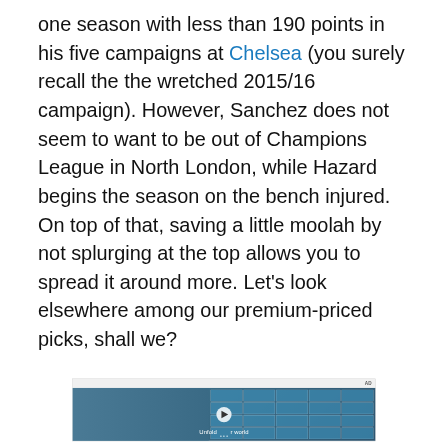one season with less than 190 points in his five campaigns at Chelsea (you surely recall the the wretched 2015/16 campaign). However, Sanchez does not seem to want to be out of Champions League in North London, while Hazard begins the season on the bench injured. On top of that, saving a little moolah by not splurging at the top allows you to spread it around more. Let's look elsewhere among our premium-priced picks, shall we?
[Figure (screenshot): Video advertisement showing a young man in a denim jacket standing in front of a tiled building exterior with blue/teal glass tiles. A play button is overlaid in the center. Text reads 'Unfold your world'. AD label in top right corner.]